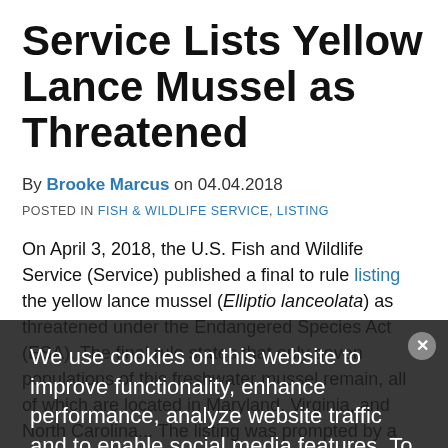Service Lists Yellow Lance Mussel as Threatened
By Brooke Marcus on 04.04.2018
POSTED IN FISH & WILDLIFE SERVICE, LISTING
On April 3, 2018, the U.S. Fish and Wildlife Service (Service) published a final to rule listing the yellow lance mussel (Elliptio lanceolata) as threatened under the Endangered Species Act (ESA). The final rule states that only seven populations of this freshwater mussel remain, all of which are located in Maryland, Virginia, and North Carolina... The listing was prompted by a mega-petition filed by the Center for
We use cookies on this website to improve functionality, enhance performance, analyze website traffic and to enable social media features. To learn more, please see our Privacy Policy and our Terms & Conditions for additional detail.